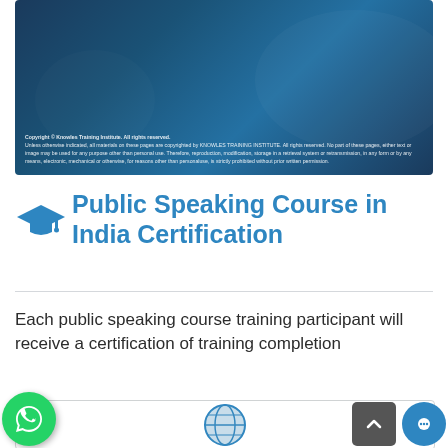[Figure (screenshot): Dark blue background image (top portion of a webpage) with copyright text overlay from Knowles Training Institute]
Copyright © Knowles Training Institute. All rights reserved.
Unless otherwise indicated, all materials on these pages are copyrighted by KNOWLES TRAINING INSTITUTE. All rights reserved. No part of these pages, either text or image may be used for any purpose other than personal use. Therefore, reproduction, modification, storage in a retrieval system or retransmission, in any form or by any means, electronic, mechanical or otherwise, for reasons other than personaluse, is strictly prohibited without prior written permission.
Public Speaking Course in India Certification
Each public speaking course training participant will receive a certification of training completion
[Figure (illustration): Certificate preview with globe icon in blue]